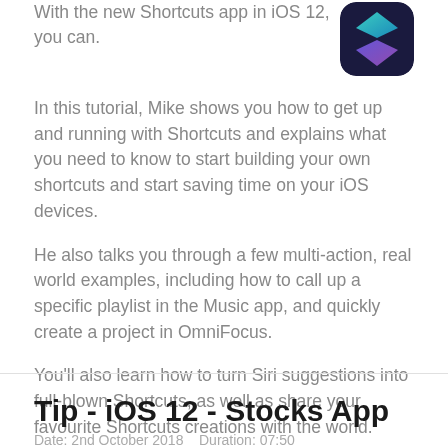With the new Shortcuts app in iOS 12, you can.
[Figure (logo): Shortcuts app icon — dark navy rounded square with teal and purple chevron/arrow shape]
In this tutorial, Mike shows you how to get up and running with Shortcuts and explains what you need to know to start building your own shortcuts and start saving time on your iOS devices.
He also talks you through a few multi-action, real world examples, including how to call up a specific playlist in the Music app, and quickly create a project in OmniFocus.
You'll also learn how to turn Siri suggestions into full-blown Shortcuts, as well as share your favourite Shortcuts creations with the world.
Tip - iOS 12 - Stocks App
Date: 2nd October 2018   Duration: 07:50